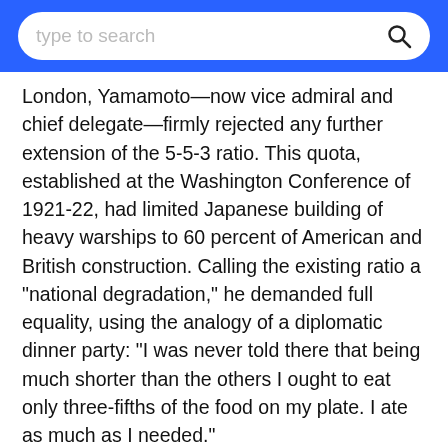type to search
London, Yamamoto—now vice admiral and chief delegate—firmly rejected any further extension of the 5-5-3 ratio. This quota, established at the Washington Conference of 1921-22, had limited Japanese building of heavy warships to 60 percent of American and British construction. Calling the existing ratio a "national degradation," he demanded full equality, using the analogy of a diplomatic dinner party: "I was never told there that being much shorter than the others I ought to eat only three-fifths of the food on my plate. I ate as much as I needed."
During the attempted putsch of February 26, 1936